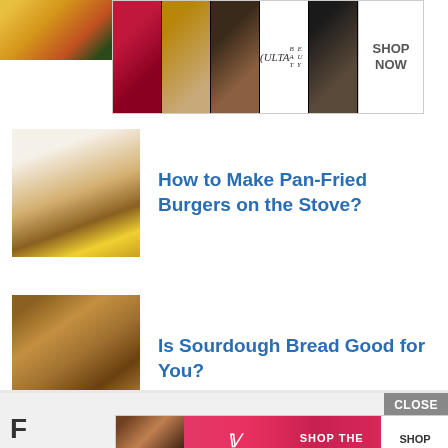[Figure (photo): Partial corner image with colorful floral/food elements]
[Figure (photo): Ulta Beauty advertisement banner showing makeup images (lips, brush, eye, Ulta logo, face) with SHOP NOW button]
[Figure (photo): Thumbnail photo of a burger being made]
How to Make Pan-Fried Burgers on the Stove?
[Figure (photo): Thumbnail photo of sourdough bread loaves]
Is Sourdough Bread Good for You?
[Figure (photo): Victoria's Secret advertisement banner with SHOP THE COLLECTION and SHOP NOW button]